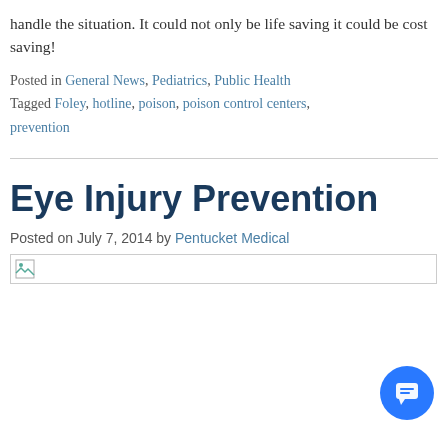handle the situation. It could not only be life saving it could be cost saving!
Posted in General News, Pediatrics, Public Health
Tagged Foley, hotline, poison, poison control centers, prevention
Eye Injury Prevention
Posted on July 7, 2014 by Pentucket Medical
[Figure (other): Broken image placeholder thumbnail]